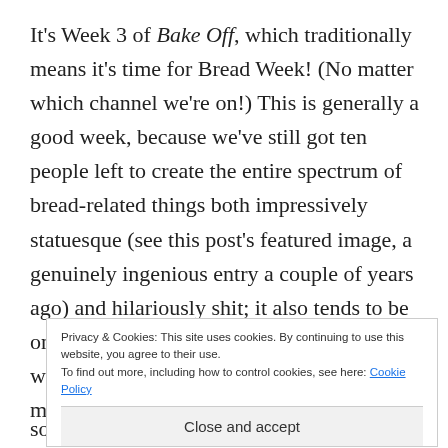It's Week 3 of Bake Off, which traditionally means it's time for Bread Week! (No matter which channel we're on!) This is generally a good week, because we've still got ten people left to create the entire spectrum of bread-related things both impressively statuesque (see this post's featured image, a genuinely ingenious entry a couple of years ago) and hilariously shit; it also tends to be one of the last weeks where I actually know what most of the things being made are. (I mean, we've done
Privacy & Cookies: This site uses cookies. By continuing to use this website, you agree to their use.
To find out more, including how to control cookies, see here: Cookie Policy
Close and accept
some of the best puns, and this week was no exception.